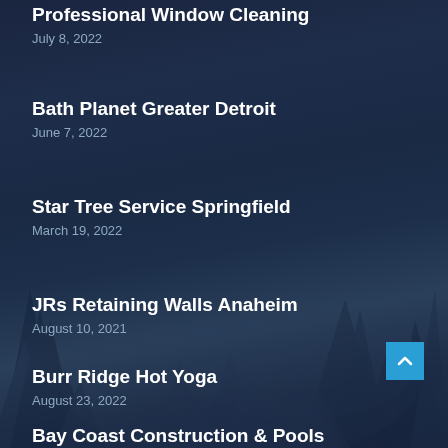Professional Window Cleaning
July 8, 2022
Bath Planet Greater Detroit
June 7, 2022
Star Tree Service Springfield
March 19, 2022
JRs Retaining Walls Anaheim
August 10, 2021
Burr Ridge Hot Yoga
August 23, 2022
Bay Coast Construction & Pools
[Figure (illustration): Dark navy blue background with silhouetted pine/fir tree forest, foggy atmosphere, page background for a business directory listing page. Includes a scroll-to-top button (blue square with upward chevron) in the lower right.]